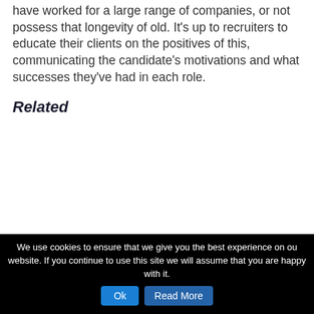have worked for a large range of companies, or not possess that longevity of old. It's up to recruiters to educate their clients on the positives of this, communicating the candidate's motivations and what successes they've had in each role.
Related
Source link
We use cookies to ensure that we give you the best experience on our website. If you continue to use this site we will assume that you are happy with it.